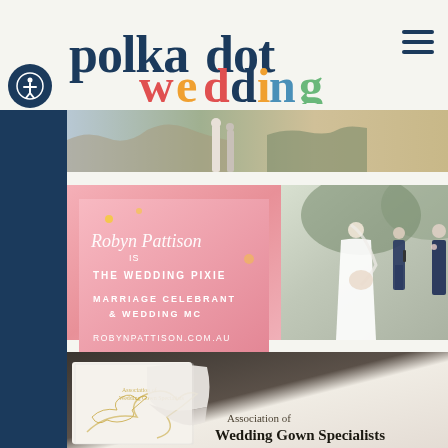[Figure (logo): Polka Dot Wedding logo with colorful lettering]
[Figure (photo): Wedding couple standing outdoors near rocky coastal scenery]
[Figure (infographic): Pink advertisement banner for Robyn Pattison - The Wedding Pixie, Marriage Celebrant & Wedding MC, robynpattison.com.au, with photo of celebrant conducting a ceremony]
[Figure (photo): Association of Wedding Gown Specialists white box with wedding dress inside, logo visible on box]